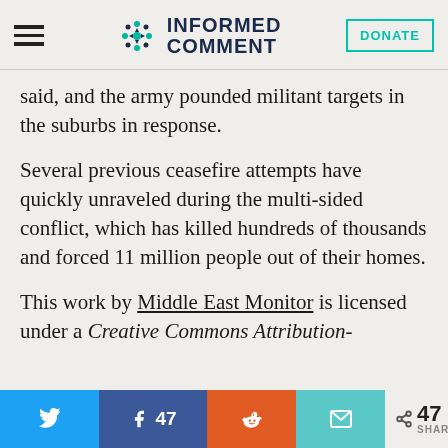INFORMED COMMENT
said, and the army pounded militant targets in the suburbs in response.
Several previous ceasefire attempts have quickly unraveled during the multi-sided conflict, which has killed hundreds of thousands and forced 11 million people out of their homes.
This work by Middle East Monitor is licensed under a Creative Commons Attribution-
47 SHARES